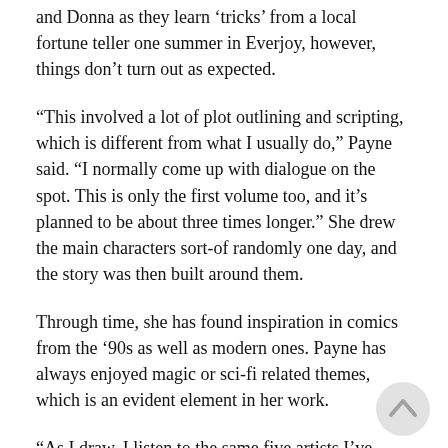and Donna as they learn 'tricks' from a local fortune teller one summer in Everjoy, however, things don't turn out as expected.
“This involved a lot of plot outlining and scripting, which is different from what I usually do,” Payne said. “I normally come up with dialogue on the spot. This is only the first volume too, and it’s planned to be about three times longer.” She drew the main characters sort-of randomly one day, and the story was then built around them.
Through time, she has found inspiration in comics from the ‘90s as well as modern ones. Payne has always enjoyed magic or sci-fi related themes, which is an evident element in her work.
“As I draw, I listen to the same five artists I’ve listened to since I was 12 years old– Kishi Bashi and Radical Face,” Payne said. “Both of them have actually been